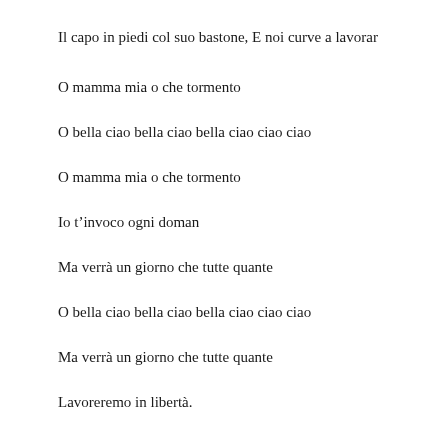Il capo in piedi col suo bastone, E noi curve a lavorar
O mamma mia o che tormento
O bella ciao bella ciao bella ciao ciao ciao
O mamma mia o che tormento
Io t'invoco ogni doman
Ma verrà un giorno che tutte quante
O bella ciao bella ciao bella ciao ciao ciao
Ma verrà un giorno che tutte quante
Lavoreremo in libertà.